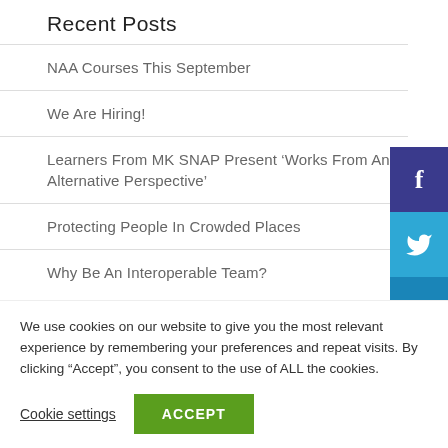Recent Posts
NAA Courses This September
We Are Hiring!
Learners From MK SNAP Present ‘Works From An Alternative Perspective’
Protecting People In Crowded Places
Why Be An Interoperable Team?
Archives
July 2022
We use cookies on our website to give you the most relevant experience by remembering your preferences and repeat visits. By clicking “Accept”, you consent to the use of ALL the cookies.
Cookie settings   ACCEPT